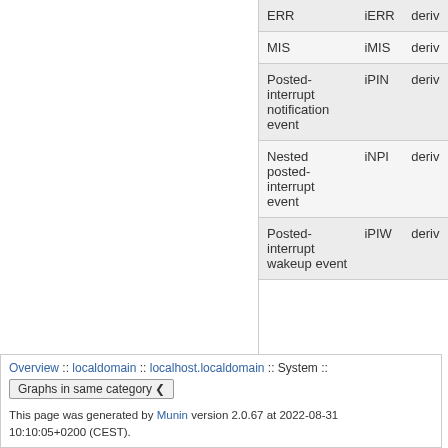| Event | Metric | Type |
| --- | --- | --- |
| ERR | iERR | deriv |
| MIS | iMIS | deriv |
| Posted-interrupt notification event | iPIN | deriv |
| Nested posted-interrupt event | iNPI | deriv |
| Posted-interrupt wakeup event | iPIW | deriv |
Overview :: localdomain :: localhost.localdomain :: System :: Graphs in same category ▾
This page was generated by Munin version 2.0.67 at 2022-08-31 10:10:05+0200 (CEST).